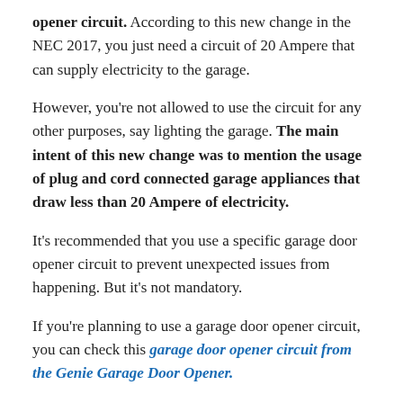opener circuit. According to this new change in the NEC 2017, you just need a circuit of 20 Ampere that can supply electricity to the garage.
However, you're not allowed to use the circuit for any other purposes, say lighting the garage. The main intent of this new change was to mention the usage of plug and cord connected garage appliances that draw less than 20 Ampere of electricity.
It's recommended that you use a specific garage door opener circuit to prevent unexpected issues from happening. But it's not mandatory.
If you're planning to use a garage door opener circuit, you can check this garage door opener circuit from the Genie Garage Door Opener.
What is Ground-Fault Circuit-